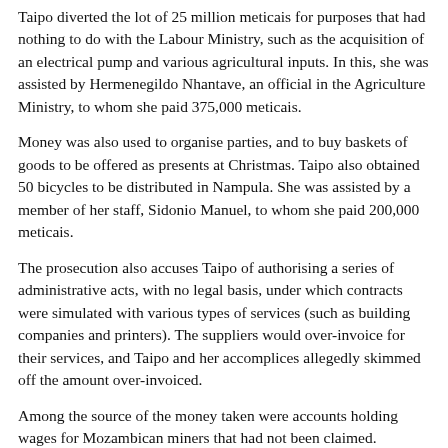Taipo diverted the lot of 25 million meticais for purposes that had nothing to do with the Labour Ministry, such as the acquisition of an electrical pump and various agricultural inputs. In this, she was assisted by Hermenegildo Nhantave, an official in the Agriculture Ministry, to whom she paid 375,000 meticais.
Money was also used to organise parties, and to buy baskets of goods to be offered as presents at Christmas. Taipo also obtained 50 bicycles to be distributed in Nampula. She was assisted by a member of her staff, Sidonio Manuel, to whom she paid 200,000 meticais.
The prosecution also accuses Taipo of authorising a series of administrative acts, with no legal basis, under which contracts were simulated with various types of services (such as building companies and printers). The suppliers would over-invoice for their services, and Taipo and her accomplices allegedly skimmed off the amount over-invoiced.
Among the source of the money taken were accounts holding wages for Mozambican miners that had not been claimed.
“As public servants, you had the task of dealing with the social insertion of the miners”, said the prosecuting attorney, Armando Parruque, “but instead you took the miners’ money for the interests of your families, and simulated contracts which never benefitted